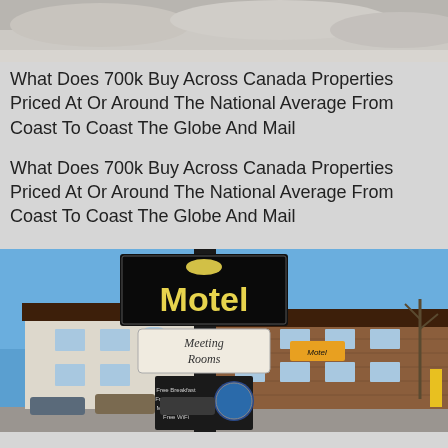[Figure (photo): Top portion of a snowy outdoor scene, cropped at the top of the page]
What Does 700k Buy Across Canada Properties Priced At Or Around The National Average From Coast To Coast The Globe And Mail
What Does 700k Buy Across Canada Properties Priced At Or Around The National Average From Coast To Coast The Globe And Mail
[Figure (photo): Photo of a motel with a large black sign reading 'Motel' in yellow letters, with 'Meeting Rooms' sign below, set against a blue sky with a brick building in the background]